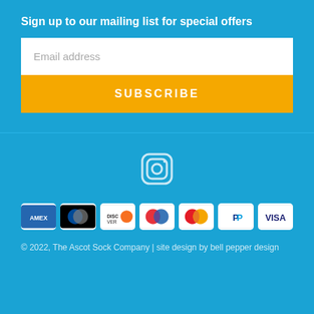Sign up to our mailing list for special offers
[Figure (screenshot): Email address input field (white box)]
[Figure (screenshot): SUBSCRIBE button (orange)]
[Figure (logo): Instagram icon (circle with rounded square outline and dot)]
[Figure (infographic): Payment method icons: Amex, Diners Club, Discover, Maestro, Mastercard, PayPal, Visa]
© 2022, The Ascot Sock Company | site design by bell pepper design